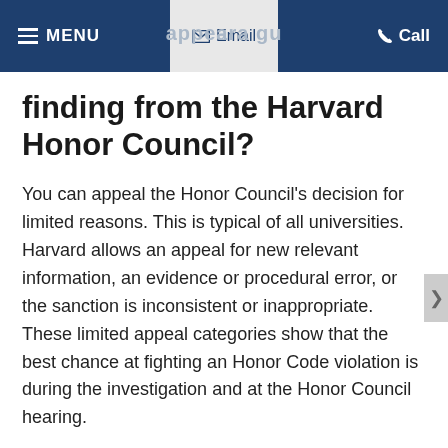MENU  Email  Call
finding from the Harvard Honor Council?
You can appeal the Honor Council's decision for limited reasons. This is typical of all universities. Harvard allows an appeal for new relevant information, an evidence or procedural error, or the sanction is inconsistent or inappropriate. These limited appeal categories show that the best chance at fighting an Honor Code violation is during the investigation and at the Honor Council hearing.
Can you help me fight my